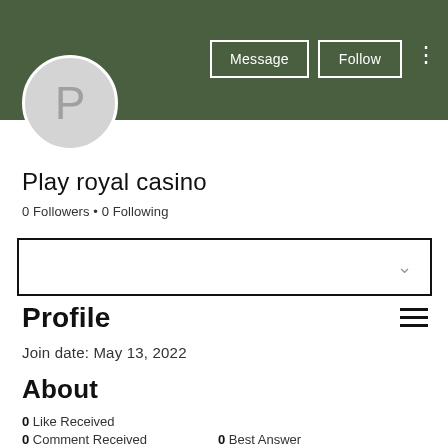[Figure (screenshot): User profile header banner in dark olive green with avatar circle showing letter P, Message and Follow buttons, and three-dot menu]
Play royal casino
0 Followers • 0 Following
[Figure (other): Dropdown selector box with chevron icon]
Profile
Join date: May 13, 2022
About
0 Like Received
0 Comment Received   0 Best Answer